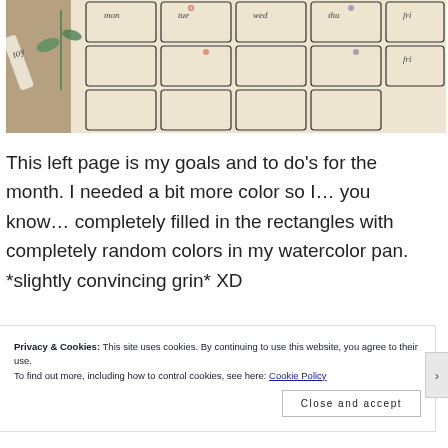[Figure (photo): Photo of a hand-drawn bullet journal calendar spread on cream/beige paper, showing a weekly layout with handwritten day abbreviations (mon, tue, wed, thu, fri) and small decorative flower doodles. A paint tube (toy brand) is visible on the left side on a wooden surface.]
This left page is my goals and to do's for the month. I needed a bit more color so I… you know… completely filled in the rectangles with completely random colors in my watercolor pan. *slightly convincing grin* XD
Privacy & Cookies: This site uses cookies. By continuing to use this website, you agree to their use.
To find out more, including how to control cookies, see here: Cookie Policy
Close and accept